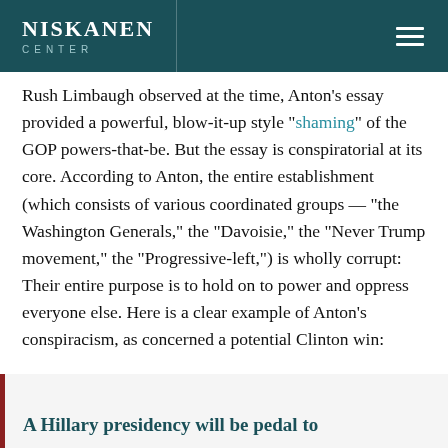NISKANEN CENTER
Rush Limbaugh observed at the time, Anton's essay provided a powerful, blow-it-up style “shaming” of the GOP powers-that-be. But the essay is conspiratorial at its core. According to Anton, the entire establishment (which consists of various coordinated groups — “the Washington Generals,” the “Davoisie,” the “Never Trump movement,” the “Progressive-left,”) is wholly corrupt: Their entire purpose is to hold on to power and oppress everyone else. Here is a clear example of Anton’s conspiracism, as concerned a potential Clinton win:
A Hillary presidency will be pedal to